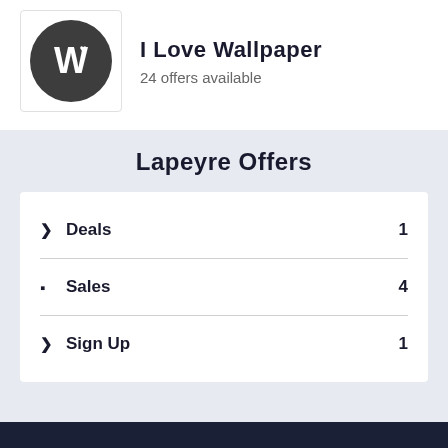[Figure (logo): I Love Wallpaper logo: dark circle with stylized W and heart]
I Love Wallpaper
24 offers available
Lapeyre Offers
Deals  1
Sales  4
Sign Up  1
[Figure (logo): Footer logo: orange circular icon with letter R on dark navy background]